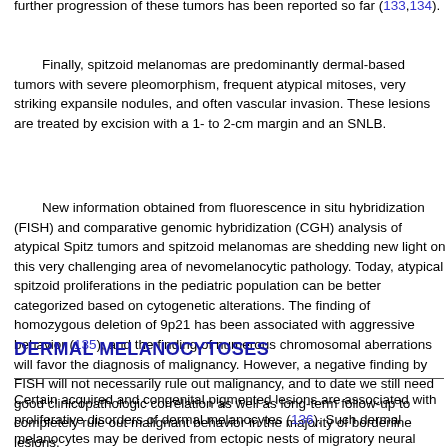further progression of these tumors has been reported so far (133,134).
Finally, spitzoid melanomas are predominantly dermal-based tumors with severe pleomorphism, frequent atypical mitoses, very striking expansile nodules, and often vascular invasion. These lesions are treated by excision with a 1- to 2-cm margin and an SNLB.
New information obtained from fluorescence in situ hybridization (FISH) and comparative genomic hybridization (CGH) analysis of atypical Spitz tumors and spitzoid melanomas are shedding new light on this very challenging area of nevomelanocytic pathology. Today, atypical spitzoid proliferations in the pediatric population can be better categorized based on cytogenetic alterations. The finding of homozygous deletion of 9p21 has been associated with aggressive behavior (135), and the finding of numerous chromosomal aberrations will favor the diagnosis of malignancy. However, a negative finding by FISH will not necessarily rule out malignancy, and to date we still need good clinicopathologic correlation as well as long-term follow-up to completely rule out malignant behavior in the majority of borderline lesions.
DERMAL MELANOCYTOSES
Certain acquired and congenital pigmented lesions are associated with proliferative disorders of dermal melanocytes (136). Such dermal melanocytes may be derived from ectopic nests of migratory neural crest cells.